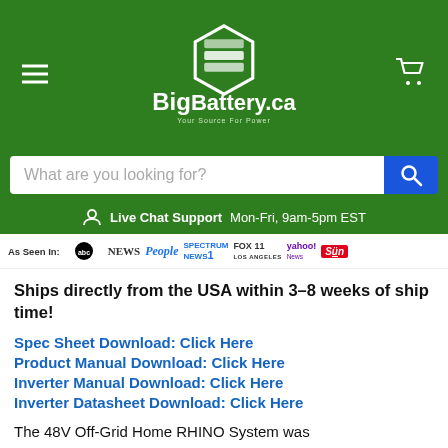[Figure (logo): BigBattery.ca logo with hexagon battery graphic and tagline 'Your Source For Power' on green header background]
[Figure (screenshot): Search bar with 'What are you looking for?' placeholder and blue search button]
Live Chat Support  Mon-Fri, 9am-5pm EST
[Figure (infographic): As Seen In: ABC NEWS, People, Spectrum News1, FOX 11 Los Angeles, yahoo! News, Sun]
Ships directly from the USA within 3-8 weeks of ship time!
Spec Sheet Download: Click Here
Product Manual Download: Click Here
Inverter Manual Download: Click Here
Inverter Datasheet Download: Click Here
The 48V Off-Grid Home RHINO System was